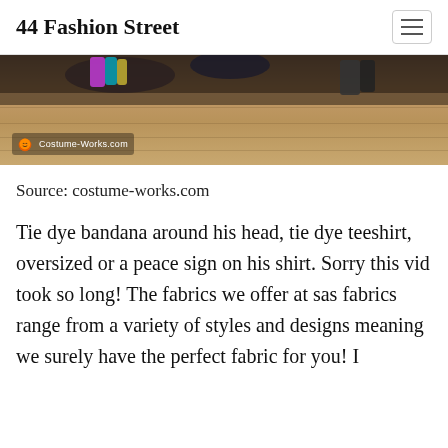44 Fashion Street
[Figure (photo): Bottom portion of a photo showing colorful items on a wooden floor. A watermark reads 'Costume-Works.com' with a pumpkin icon.]
Source: costume-works.com
Tie dye bandana around his head, tie dye teeshirt, oversized or a peace sign on his shirt. Sorry this vid took so long! The fabrics we offer at sas fabrics range from a variety of styles and designs meaning we surely have the perfect fabric for you! I